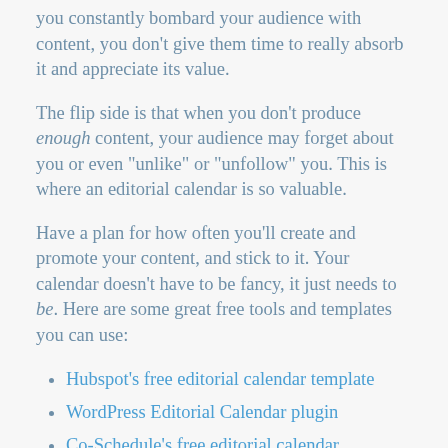you constantly bombard your audience with content, you don't give them time to really absorb it and appreciate its value.
The flip side is that when you don't produce enough content, your audience may forget about you or even “unlike” or “unfollow” you. This is where an editorial calendar is so valuable.
Have a plan for how often you’ll create and promote your content, and stick to it. Your calendar doesn’t have to be fancy, it just needs to be. Here are some great free tools and templates you can use:
Hubspot’s free editorial calendar template
WordPress Editorial Calendar plugin
Co-Schedule’s free editorial calendar templates